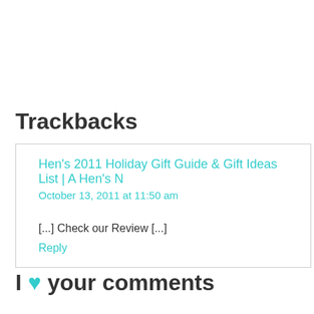Trackbacks
Hen's 2011 Holiday Gift Guide & Gift Ideas List | A Hen's N
October 13, 2011 at 11:50 am

[...] Check our Review [...]
Reply
I ♥ your comments